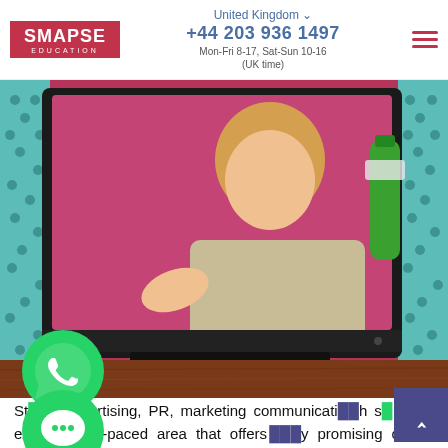SMAPSE EDUCATION | United Kingdom | +44 203 936 1497 | Mon-Fri 8-17, Sat-Sun 10-16 (UK time)
[Figure (photo): Retro-style promotional photo of a woman in vintage clothing smiling and holding a green bottle, appearing to emerge from an old television set on a wooden surface with teal polka-dot background]
[Figure (logo): WhatsApp green circular icon with phone handset]
[Figure (logo): Green circular chat/messaging icon]
Studying advertising, PR, marketing communications is an exciting, fast-paced area that offers many promising career opportunities. Thanks to modern media,